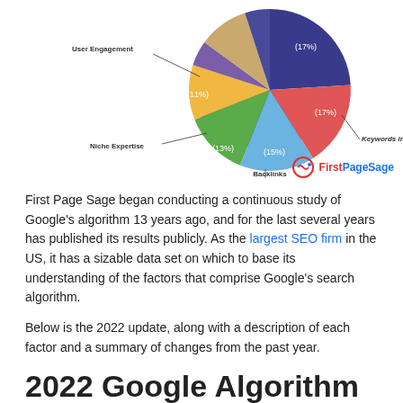[Figure (pie-chart): Google Algorithm Factors]
First Page Sage began conducting a continuous study of Google's algorithm 13 years ago, and for the last several years has published its results publicly. As the largest SEO firm in the US, it has a sizable data set on which to base its understanding of the factors that comprise Google's search algorithm.
Below is the 2022 update, along with a description of each factor and a summary of changes from the past year.
2022 Google Algorith m